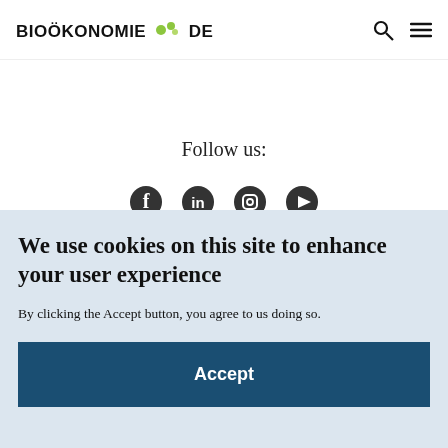BIOÖKONOMIE DE
Follow us:
We use cookies on this site to enhance your user experience
By clicking the Accept button, you agree to us doing so.
Accept